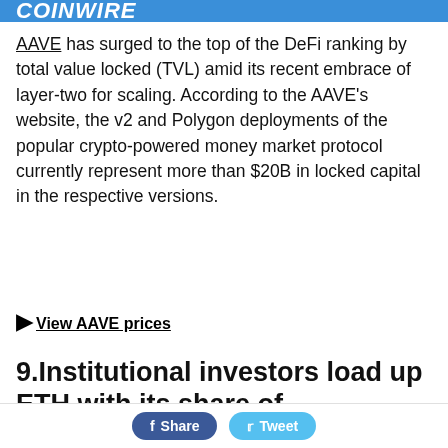COINWIRE
AAVE has surged to the top of the DeFi ranking by total value locked (TVL) amid its recent embrace of layer-two for scaling. According to the AAVE’s website, the v2 and Polygon deployments of the popular crypto-powered money market protocol currently represent more than $20B in locked capital in the respective versions.
▶ View AAVE prices
9.Institutional investors load up ETH with its share of